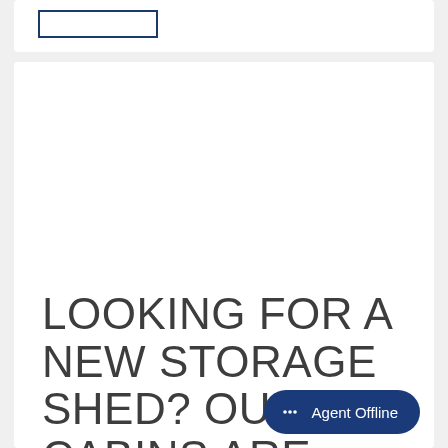[Figure (logo): Logo box with blue border in top white card area]
[Figure (photo): Large empty white image/photo area]
LOOKING FOR A NEW STORAGE SHED? OUR B... CABINS ARE JUST...